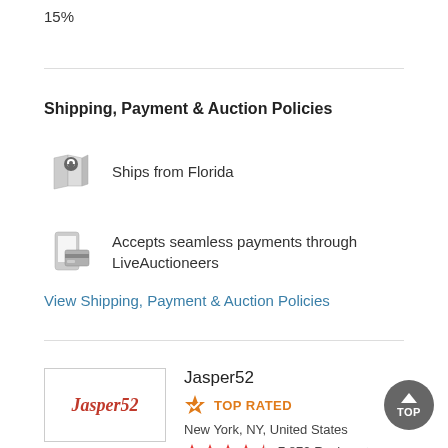15%
Shipping, Payment & Auction Policies
Ships from Florida
Accepts seamless payments through LiveAuctioneers
View Shipping, Payment & Auction Policies
Jasper52
TOP RATED
New York, NY, United States
7,872 Reviews ▶